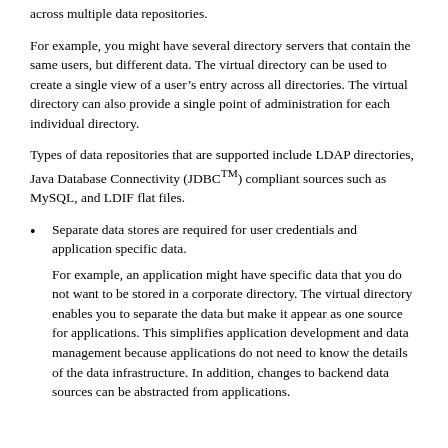across multiple data repositories.
For example, you might have several directory servers that contain the same users, but different data. The virtual directory can be used to create a single view of a user’s entry across all directories. The virtual directory can also provide a single point of administration for each individual directory.
Types of data repositories that are supported include LDAP directories, Java Database Connectivity (JDBC™) compliant sources such as MySQL, and LDIF flat files.
Separate data stores are required for user credentials and application specific data.
For example, an application might have specific data that you do not want to be stored in a corporate directory. The virtual directory enables you to separate the data but make it appear as one source for applications. This simplifies application development and data management because applications do not need to know the details of the data infrastructure. In addition, changes to backend data sources can be abstracted from applications.